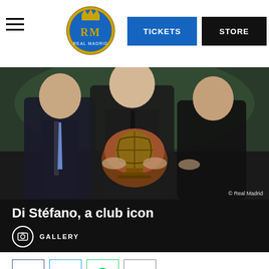Real Madrid website header with hamburger menu, Real Madrid logo, TICKETS button, STORE button
[Figure (photo): Three men in suits holding a football-themed trophy award. The man on the left wears a dark suit, the man in the center is taller, and the man on the right is elderly. Copyright © Real Madrid.]
Di Stéfano, a club icon
GALLERY
[Figure (infographic): Social share buttons: Facebook (blue border), Twitter (light blue bird icon), WhatsApp (green border), Share (grey border with share icon)]